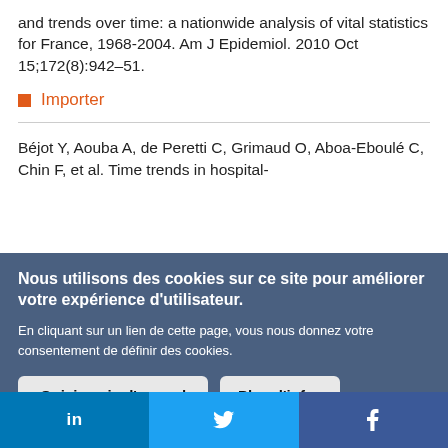and trends over time: a nationwide analysis of vital statistics for France, 1968-2004. Am J Epidemiol. 2010 Oct 15;172(8):942–51.
Importer
Béjot Y, Aouba A, de Peretti C, Grimaud O, Aboa-Eboulé C, Chin F, et al. Time trends in hospital-
Nous utilisons des cookies sur ce site pour améliorer votre expérience d'utilisateur.

En cliquant sur un lien de cette page, vous nous donnez votre consentement de définir des cookies.
Oui, je suis d'accord | Plus d'infos
in   🐦   f